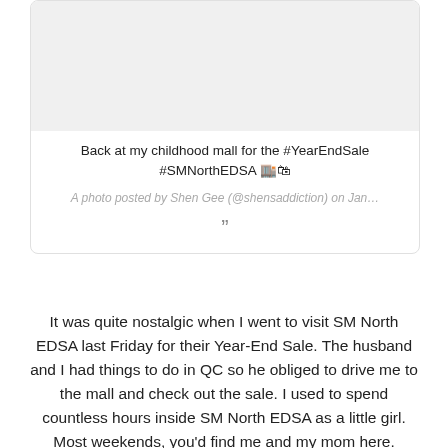[Figure (screenshot): Social media post card with a photo placeholder (light grey rectangle), post text with hashtags, photo attribution line in italic grey, and a closing quotation mark icon.]
It was quite nostalgic when I went to visit SM North EDSA last Friday for their Year-End Sale. The husband and I had things to do in QC so he obliged to drive me to the mall and check out the sale. I used to spend countless hours inside SM North EDSA as a little girl. Most weekends, you'd find me and my mom here. Seeing it again really made me happy as I remembered good memories I made inside